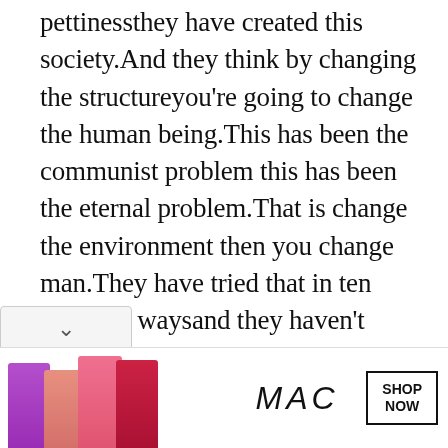pettinessthey have created this society.And they think by changing the structureyou're going to change the human being.This has been the communist problem this has been the eternal problem.That is change the environment then you change man.They have tried that in ten different waysand they haven't done it succeeded in changing man.On the contrary man conquers the environment the structure.So if we are clear that the outer is the inner the inner is the outerthat there is not the division the society the individualthe collective and the
[Figure (other): MAC cosmetics advertisement banner showing colorful lipsticks (purple, peach, pink, red) alongside the MAC logo in italic letters and a 'SHOP NOW' button]